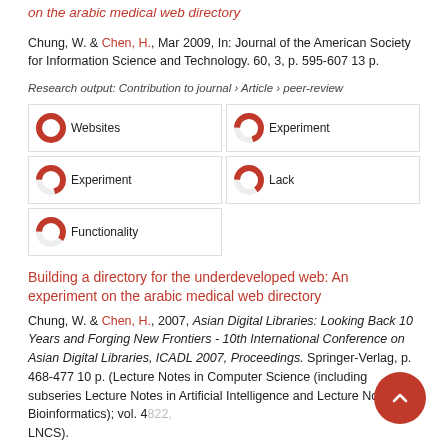on the arabic medical web directory
Chung, W. & Chen, H., Mar 2009, In: Journal of the American Society for Information Science and Technology. 60, 3, p. 595-607 13 p.
Research output: Contribution to journal › Article › peer-review
[Figure (infographic): Keyword boxes with donut chart indicators: 100% Websites, 70% Experiment (right), 70% Experiment (left), 65% Lack, 60% Functionality]
Building a directory for the underdeveloped web: An experiment on the arabic medical web directory
Chung, W. & Chen, H., 2007, Asian Digital Libraries: Looking Back 10 Years and Forging New Frontiers - 10th International Conference on Asian Digital Libraries, ICADL 2007, Proceedings. Springer-Verlag, p. 468-477 10 p. (Lecture Notes in Computer Science (including subseries Lecture Notes in Artificial Intelligence and Lecture Notes in Bioinformatics); vol. 4822, LNCS).
Research output: Chapter in Book/Report/Conference proceeding ›